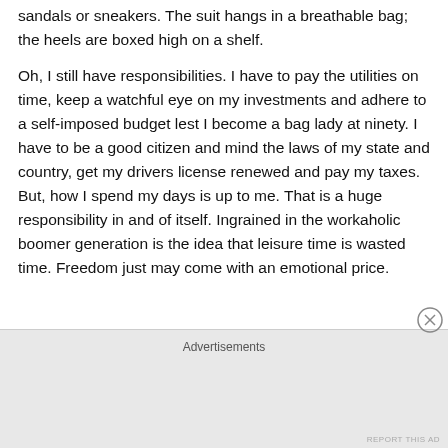sandals or sneakers. The suit hangs in a breathable bag; the heels are boxed high on a shelf.
Oh, I still have responsibilities. I have to pay the utilities on time, keep a watchful eye on my investments and adhere to a self-imposed budget lest I become a bag lady at ninety. I have to be a good citizen and mind the laws of my state and country, get my drivers license renewed and pay my taxes. But, how I spend my days is up to me. That is a huge responsibility in and of itself. Ingrained in the workaholic boomer generation is the idea that leisure time is wasted time. Freedom just may come with an emotional price.
Advertisements